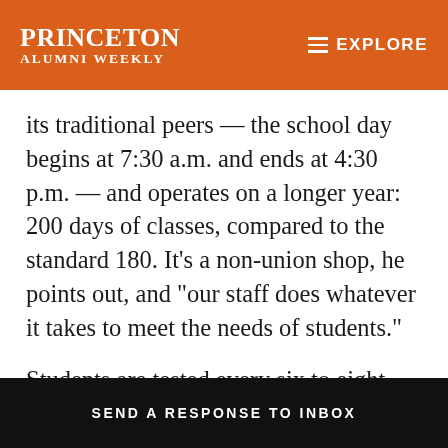PRINCETON ALUMNI WEEKLY | EXPLORE
its traditional peers — the school day begins at 7:30 a.m. and ends at 4:30 p.m. — and operates on a longer year: 200 days of classes, compared to the standard 180. It’s a non-union shop, he points out, and “our staff does whatever it takes to meet the needs of students.”
Students are tested every six to eight weeks in
SEND A RESPONSE TO INBOX